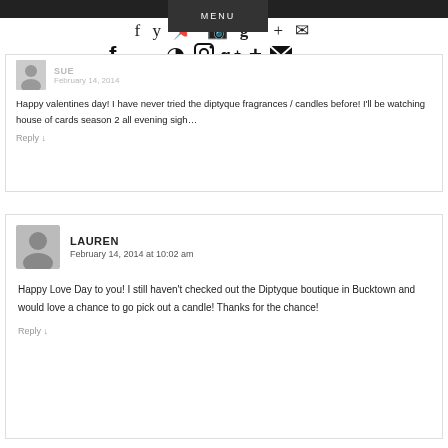MENU
[Figure (illustration): Social media icons: Facebook, Twitter, Pinterest, Instagram, Google+, Plus, Email]
SUE
February 14, 2014
Happy valentines day! I have never tried the diptyque fragrances / candles before! I'll be watching house of cards season 2 all evening sigh…
Reply ↓
LAUREN
February 14, 2014 at 10:02 am
Happy Love Day to you! I still haven't checked out the Diptyque boutique in Bucktown and would love a chance to go pick out a candle! Thanks for the chance!
Reply ↓